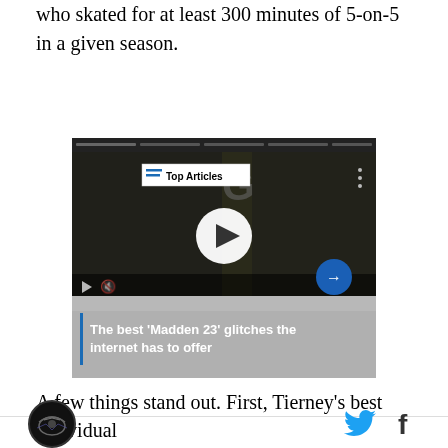who skated for at least 300 minutes of 5-on-5 in a given season.
[Figure (screenshot): Embedded video player showing 'Top Articles' badge with blue lines, a play button, video controls, and caption text reading 'The best ‘Madden 23’ glitches the internet has to offer']
A few things stand out. First, Tierney’s best individual
Logo icon on left, Twitter and Facebook social icons on right